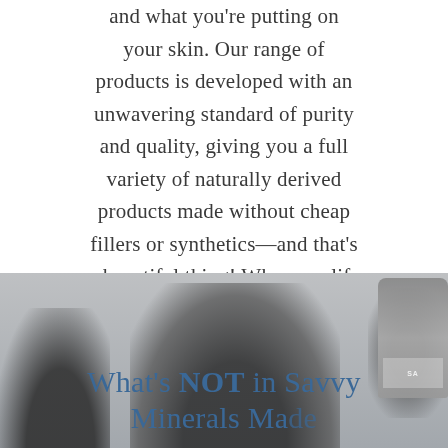and what you're putting on your skin. Our range of products is developed with an unwavering standard of purity and quality, giving you a full variety of naturally derived products made without cheap fillers or synthetics—and that's a beautiful thing! Wherever life takes you, Savvy Minerals is here to empower you to be the woman you want to be.
[Figure (photo): Background photo of Savvy Minerals makeup products (dark circular compacts and bottles) with a woman's silhouette, overlaid with the section heading 'What's NOT in Savvy Minerals Made...' in teal/blue serif text]
What's NOT in Savvy Minerals Made...